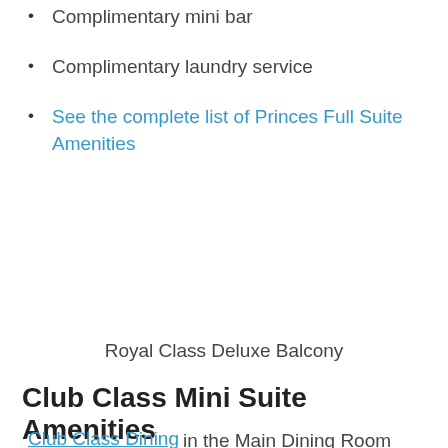Complimentary mini bar
Complimentary laundry service
See the complete list of Princes Full Suite Amenities
Royal Class Deluxe Balcony
Club Class Mini Suite Amenities
Club Class Dining in the Main Dining Room